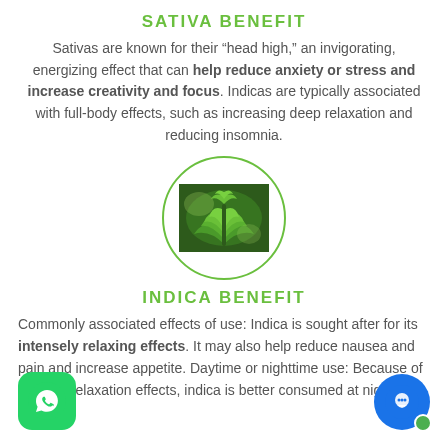SATIVA BENEFIT
Sativas are known for their “head high,” an invigorating, energizing effect that can help reduce anxiety or stress and increase creativity and focus. Indicas are typically associated with full-body effects, such as increasing deep relaxation and reducing insomnia.
[Figure (photo): Cannabis plant photo in a green circle border]
INDICA BENEFIT
Commonly associated effects of use: Indica is sought after for its intensely relaxing effects. It may also help reduce nausea and pain and increase appetite. Daytime or nighttime use: Because of its deep relaxation effects, indica is better consumed at night.